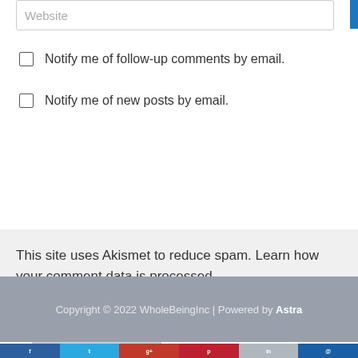Website (input field placeholder)
Notify me of follow-up comments by email.
Notify me of new posts by email.
Post Comment »
This site uses Akismet to reduce spam. Learn how your comment data is processed.
Copyright © 2022 WholeBeingInc | Powered by Astra